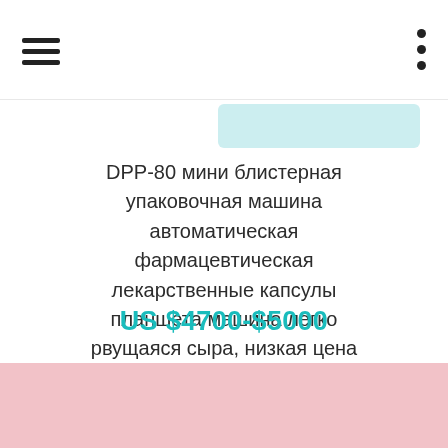navigation header with hamburger menu and dots menu
DPP-80 мини блистерная упаковочная машина автоматическая фармацевтическая лекарственные капсулы планшета машина легко рвущаяся сыра, низкая цена
US $4700-$5000